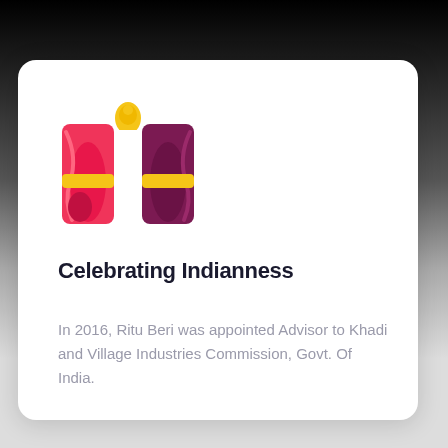[Figure (illustration): Decorative icon of an Indian-style curtain/stage arch with red/pink draped fabric and yellow accents, forming an arch shape]
Celebrating Indianness
In 2016, Ritu Beri was appointed Advisor to Khadi and Village Industries Commission, Govt. Of India.